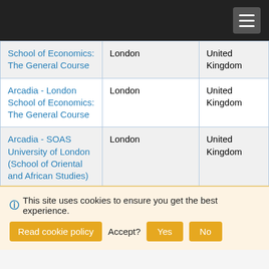| Program | City | Country |
| --- | --- | --- |
| School of Economics: The General Course | London | United Kingdom |
| Arcadia - London School of Economics: The General Course | London | United Kingdom |
| Arcadia - SOAS University of London (School of Oriental and African Studies) | London | United Kingdom |
| IFSA - SOAS |  |  |
This site uses cookies to ensure you get the best experience. Read cookie policy  Accept?  Yes  No